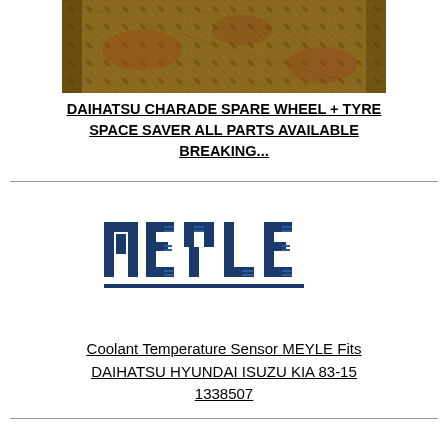[Figure (photo): Close-up photograph of a metal diamond/checker plate surface with a raised pattern, showing rust and wear.]
DAIHATSU CHARADE SPARE WHEEL + TYRE SPACE SAVER ALL PARTS AVAILABLE BREAKING...
[Figure (logo): MEYLE brand logo in dark blue block letters with horizontal lines accent on E, Y, L, E.]
Coolant Temperature Sensor MEYLE Fits DAIHATSU HYUNDAI ISUZU KIA 83-15 1338507